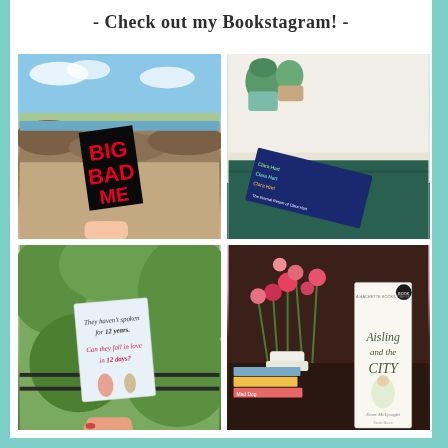- Check out my Bookstagram! -
[Figure (photo): Hand holding a black book with bold red text reading BIG BAD ME by Anura O'Gorman, photographed against a coastal/rocky beach background with blue sky]
[Figure (photo): The Eternal Return of Clara Hart book lying on a dark teal/green cloth, with small succulents in pots in the background on a light bedding surface]
[Figure (photo): Hand holding a light blue book with illustrated couple and text 'They haven't spoken for 12 years. Can they fall in love in 12 days?' photographed against green foliage background]
[Figure (photo): Aisling and the City book by Emer McLysaght standing upright with a vase of pink/red carnations and stacked books on a dark wooden surface]